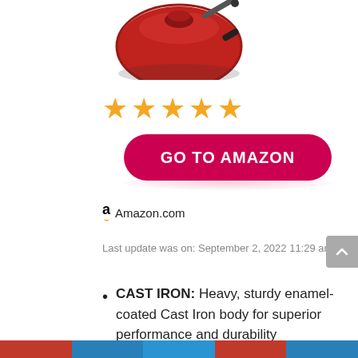[Figure (photo): Partial top view of a red enamel-coated cast iron product (lid with handle visible), cropped at the top of the page.]
[Figure (other): Five orange star rating icons indicating a 5-star review score.]
GO TO AMAZON
Amazon.com
Last update was on: September 2, 2022 11:29 am
CAST IRON: Heavy, sturdy enamel-coated Cast Iron body for superior performance and durability